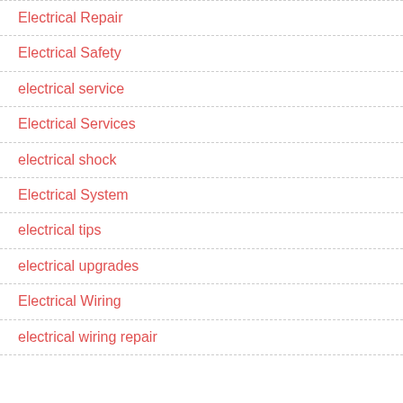Electrical Repair
Electrical Safety
electrical service
Electrical Services
electrical shock
Electrical System
electrical tips
electrical upgrades
Electrical Wiring
electrical wiring repair